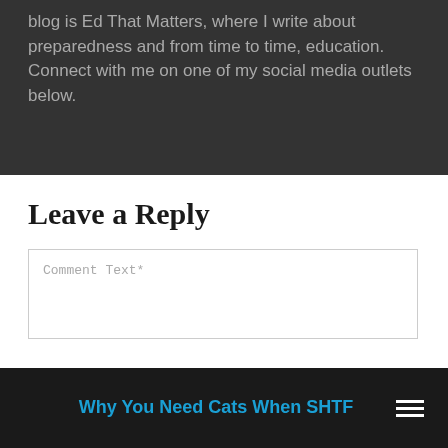blog is Ed That Matters, where I write about preparedness and from time to time, education. Connect with me on one of my social media outlets below.
Leave a Reply
Comment Text*
Why You Need Cats When SHTF